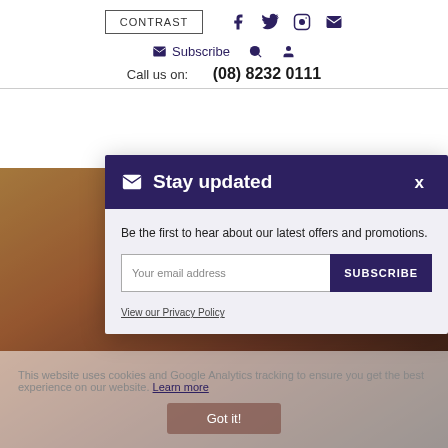CONTRAST | social icons (Facebook, Twitter, Instagram, Email)
Subscribe | Search | Account icons
Call us on: (08) 8232 0111
[Figure (screenshot): Canyon landscape background photo]
Stay updated
Be the first to hear about our latest offers and promotions.
Your email address [input field] SUBSCRIBE
View our Privacy Policy
This website uses cookies and Google Analytics tracking to ensure you get the best experience on our website. Learn more
Got it!